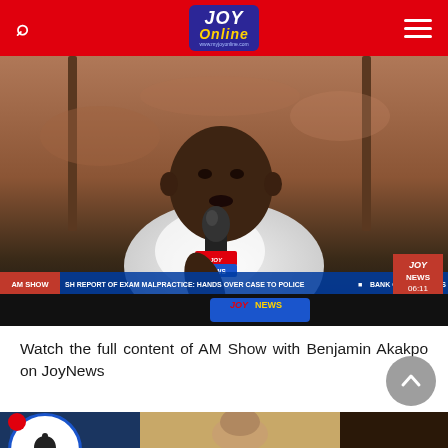JOY Online
[Figure (screenshot): JoyNews TV broadcast screenshot showing a man in white t-shirt being interviewed outdoors, holding a JOY NEWS microphone. Ticker bar reads: AM SHOW SH REPORT OF EXAM MALPRACTICE: HANDS OVER CASE TO POLICE | BANK OF GHANA HAS. JOY NEWS badge with time 06:11 visible in bottom right.]
Watch the full content of AM Show with Benjamin Akakpo on JoyNews
[Figure (screenshot): Partial screenshot of a second JoyNews video thumbnail showing a studio setting.]